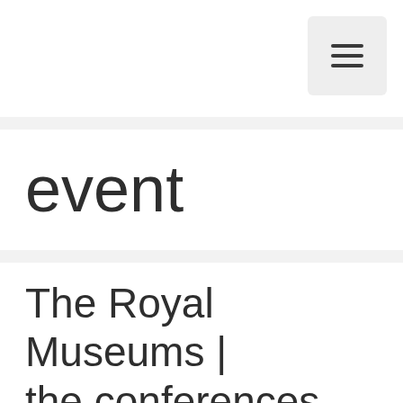[Figure (other): Hamburger menu button icon (three horizontal lines) in a light gray rounded rectangle, positioned in the top-right of the header area]
event
The Royal Museums | the conferences from 19 to twenty-eight occasions in Turin